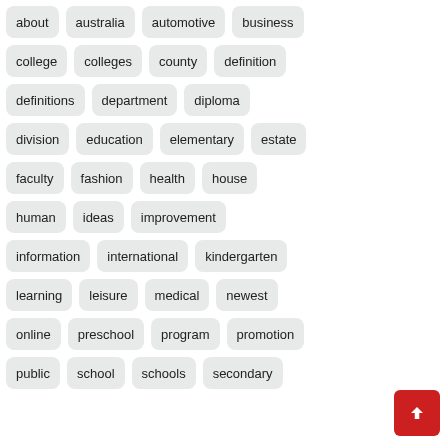about
australia
automotive
business
college
colleges
county
definition
definitions
department
diploma
division
education
elementary
estate
faculty
fashion
health
house
human
ideas
improvement
information
international
kindergarten
learning
leisure
medical
newest
online
preschool
program
promotion
public
school
schools
secondary